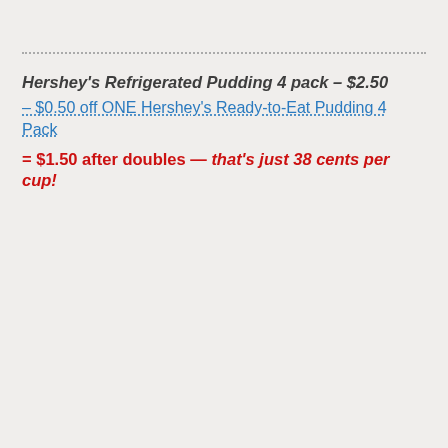Hershey's Refrigerated Pudding 4 pack – $2.50 – $0.50 off ONE Hershey's Ready-to-Eat Pudding 4 Pack = $1.50 after doubles — that's just 38 cents per cup!